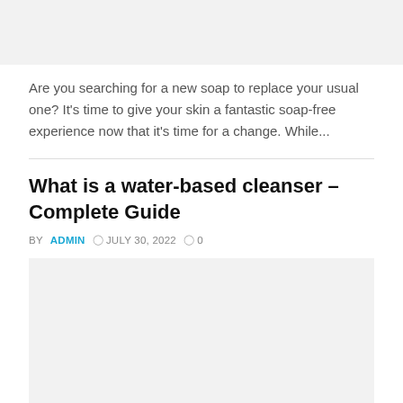[Figure (other): Gray placeholder image block at top]
Are you searching for a new soap to replace your usual one? It's time to give your skin a fantastic soap-free experience now that it's time for a change. While...
What is a water-based cleanser – Complete Guide
BY ADMIN  JULY 30, 2022  0
[Figure (other): Gray placeholder image block below article title]